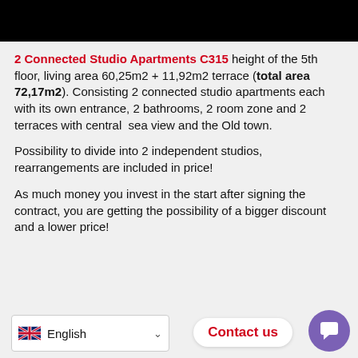[Figure (photo): Black banner/header image at top of page]
2 Connected Studio Apartments C315 height of the 5th floor, living area 60,25m2 + 11,92m2 terrace (total area 72,17m2). Consisting 2 connected studio apartments each with its own entrance, 2 bathrooms, 2 room zone and 2 terraces with central sea view and the Old town.
Possibility to divide into 2 independent studios, rearrangements are included in price!
As much money you invest in the start after signing the contract, you are getting the possibility of a bigger discount and a lower price!